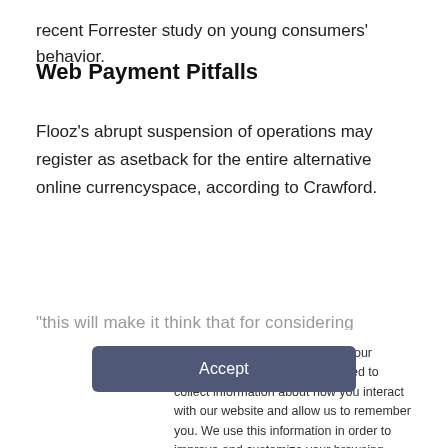recent Forrester study on young consumers' behavior.
Web Payment Pitfalls
Flooz's abrupt suspension of operations may register as asetback for the entire alternative online currencyspace, according to Crawford.
This website stores cookies on your computer. These cookies are used to collect information about how you interact with our website and allow us to remember you. We use this information in order to improve and customize your browsing experience and for analytics and metrics about our visitors both on this website and other media. To find out more about the cookies we use, see our Privacy Policy. California residents have the right to direct us not to sell their personal information to third parties by filing an Opt-Out Request: Do Not Sell My Personal Info.
Accept